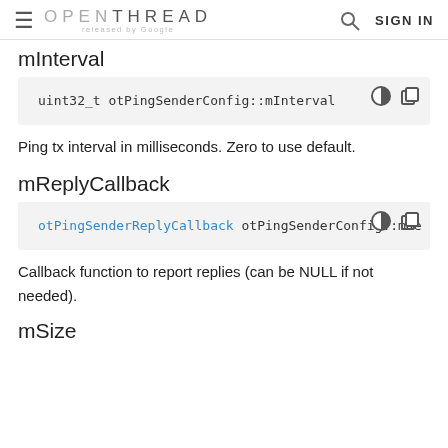OPENTHREAD released by Google — SIGN IN
mInterval
uint32_t otPingSenderConfig::mInterval
Ping tx interval in milliseconds. Zero to use default.
mReplyCallback
otPingSenderReplyCallback otPingSenderConfig::mRe
Callback function to report replies (can be NULL if not needed).
mSize